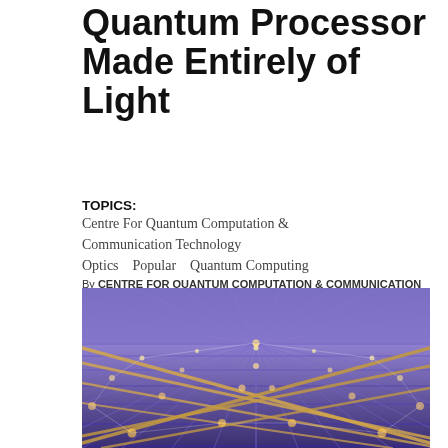Prototype Large-Scale Quantum Processor Made Entirely of Light
TOPICS:
Centre For Quantum Computation & Communication Technology
Optics    Popular    Quantum Computing
By CENTRE FOR QUANTUM COMPUTATION & COMMUNICATION TECHNOLOGY    OCTOBER 18, 2019
[Figure (illustration): An artistic rendering of a large-scale quantum photonic network showing a grid of glowing nodes connected by diagonal golden beams of light on a purple/blue background, viewed from a perspective angle.]